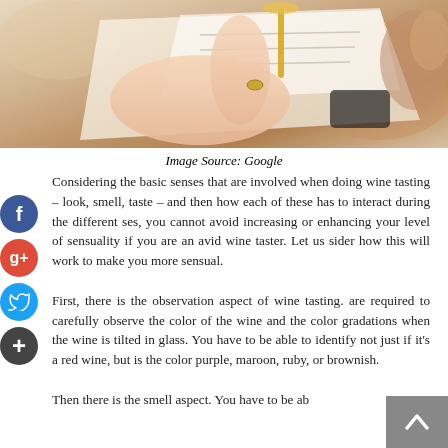[Figure (photo): A person holding a wine glass over a book or menu, with food items visible in the background. Soft, warm-toned photograph.]
Image Source: Google
Considering the basic senses that are involved when doing wine tasting – look, smell, taste – and then how each of these has to interact during the different ses, you cannot avoid increasing or enhancing your level of sensuality if you are an avid wine taster. Let us sider how this will work to make you more sensual.

First, there is the observation aspect of wine tasting. are required to carefully observe the color of the wine and the color gradations when the wine is tilted in glass. You have to be able to identify not just if it's a red wine, but is the color purple, maroon, ruby, or brownish.

Then there is the smell aspect. You have to be ab